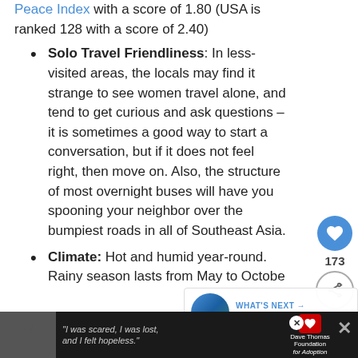Peace Index with a score of 1.80 (USA is ranked 128 with a score of 2.40)
Solo Travel Friendliness: In less-visited areas, the locals may find it strange to see women travel alone, and tend to get curious and ask questions – it is sometimes a good way to start a conversation, but if it does not feel right, then move on. Also, the structure of most overnight buses will have you spooning your neighbor over the bumpiest roads in all of Southeast Asia.
Climate: Hot and humid year-round. Rainy season lasts from May to October.
Best SIM cards: ETL and Unitel – cards can be purchased at the airport and major